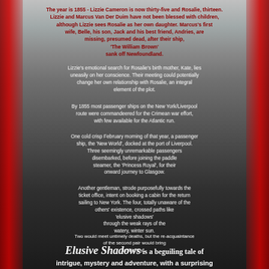[Figure (photo): Black and white coastal landscape photograph with red borders on left and right sides, showing rocky shoreline with cliffs and overcast sky]
The year is 1855 - Lizzie Cameron is now thirty-five and Rosalie, thirteen. Lizzie and Marcus Van Der Duim have not been blessed with children, although Lizzie sees Rosalie as her own daughter. Marcus's first wife, Belle, his son, Jack and his best friend, Andries, are missing, presumed dead, after their ship, 'The William Brown' sank off Newfoundland.
Lizzie's emotional search for Rosalie's birth mother, Kate, lies uneasily on her conscience. Their meeting could potentially change her own relationship with Rosalie, an integral element of the plot.
By 1855 most passenger ships on the New York/Liverpool route were commandeered for the Crimean war effort, with few available for the Atlantic run.
One cold crisp February morning of that year, a passenger ship, the 'New World', docked at the port of Liverpool. Three seemingly unremarkable passengers disembarked, before joining the paddle steamer, the 'Princess Royal', for their onward journey to Glasgow.
Another gentleman, strode purposefully towards the ticket office, intent on booking a cabin for the return sailing to New York. The four, totally unaware of the others' existence, crossed paths like 'elusive shadows' through the weak rays of the watery, winter sun.
Two would meet untimely deaths, but the re-acquaintance of the second pair would bring untold joy...
Elusive Shadows is a beguiling tale of intrigue, mystery and adventure, with a surprising